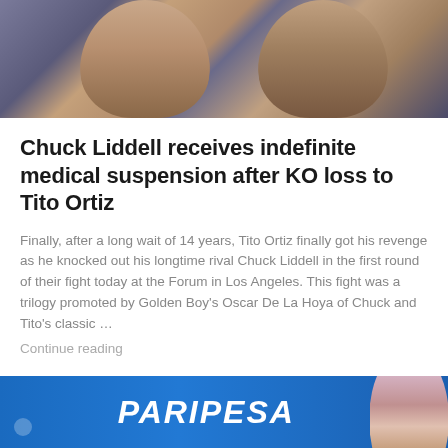[Figure (photo): Two male fighters (Chuck Liddell and Tito Ortiz) standing side by side, one in blue jacket on left, one in black shirt on right, photographed at a fighting event]
Chuck Liddell receives indefinite medical suspension after KO loss to Tito Ortiz
Finally, after a long wait of 14 years, Tito Ortiz finally got his revenge as he knocked out his longtime rival Chuck Liddell in the first round of their fight today at the Forum in Los Angeles. This fight was a trilogy promoted by Golden Boy's Oscar De La Hoya of Chuck and Tito's classic …
Continue reading
[Figure (photo): PARIPESA advertisement banner with blue background and a woman on the right side]